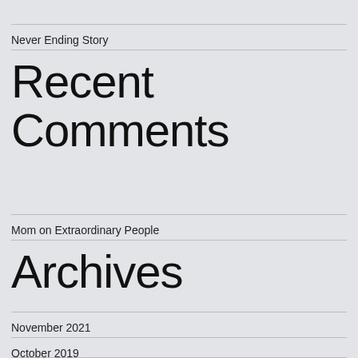Never Ending Story
Recent Comments
Mom on Extraordinary People
Archives
November 2021
October 2019